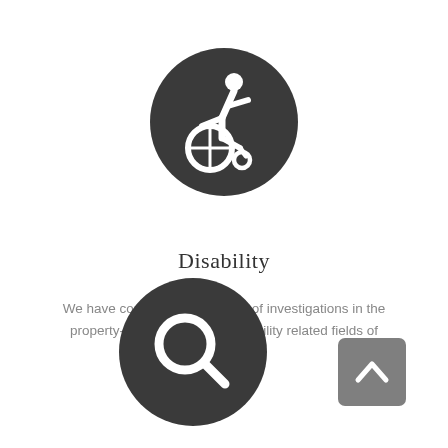[Figure (illustration): Dark circular icon with white wheelchair accessibility symbol (person in wheelchair, dynamic style) on white background]
Disability
We have conducted thousands of investigations in the property-casualty, life, and disability related fields of insurance.
[Figure (illustration): Dark circular icon with white magnifying glass (search) symbol]
[Figure (illustration): Gray rounded-square button with upward chevron arrow]